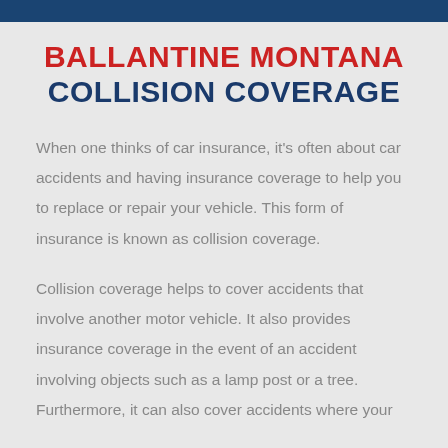BALLANTINE MONTANA COLLISION COVERAGE
When one thinks of car insurance, it's often about car accidents and having insurance coverage to help you to replace or repair your vehicle. This form of insurance is known as collision coverage.
Collision coverage helps to cover accidents that involve another motor vehicle. It also provides insurance coverage in the event of an accident involving objects such as a lamp post or a tree. Furthermore, it can also cover accidents where your